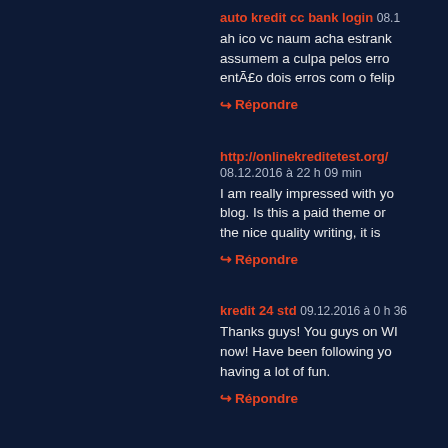auto kredit cc bank login 08.12...
ah ico vc naum acha estrank assumem a culpa pelos erro então dois erros com o felip
↪ Répondre
http://onlinekreditetest.org/
08.12.2016 à 22 h 09 min
I am really impressed with yo blog. Is this a paid theme or the nice quality writing, it is
↪ Répondre
kredit 24 std 09.12.2016 à 0 h 36
Thanks guys! You guys on WI now! Have been following yo having a lot of fun.
↪ Répondre